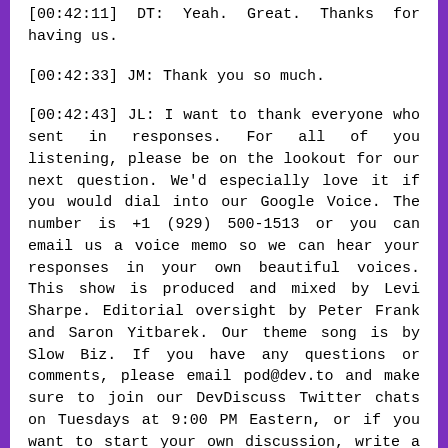[00:42:11] DT: Yeah. Great. Thanks for having us.
[00:42:33] JM: Thank you so much.
[00:42:43] JL: I want to thank everyone who sent in responses. For all of you listening, please be on the lookout for our next question. We'd especially love it if you would dial into our Google Voice. The number is +1 (929) 500-1513 or you can email us a voice memo so we can hear your responses in your own beautiful voices. This show is produced and mixed by Levi Sharpe. Editorial oversight by Peter Frank and Saron Yitbarek. Our theme song is by Slow Biz. If you have any questions or comments, please email pod@dev.to and make sure to join our DevDiscuss Twitter chats on Tuesdays at 9:00 PM Eastern, or if you want to start your own discussion, write a post on Dev using the #discuss. Please rate and subscribe to this show on Apple Podcasts.